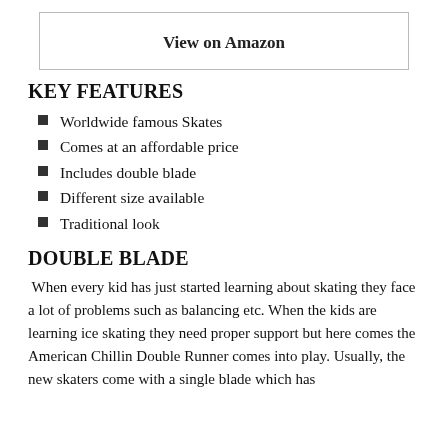[Figure (other): View on Amazon button/box with border]
KEY FEATURES
Worldwide famous Skates
Comes at an affordable price
Includes double blade
Different size available
Traditional look
DOUBLE BLADE
When every kid has just started learning about skating they face a lot of problems such as balancing etc. When the kids are learning ice skating they need proper support but here comes the American Chillin Double Runner comes into play. Usually, the new skaters come with a single blade which has